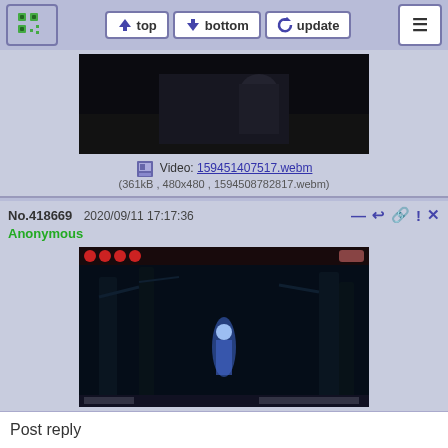top | bottom | update | menu
[Figure (screenshot): Partial top post showing a dark video thumbnail of a person in a hallway, with video info: 159451407517.webm (361kB, 480x480, 1594508782817.webm)]
No.418669  2020/09/11 17:17:36
Anonymous
[Figure (screenshot): Video thumbnail from Star Fox Adventures showing a dark forest scene with a glowing figure, health bars at top. Video: 159986985616.webm (12.7MB, 800x450, She's Beautiful - Star Fox Adventures (HD).webm)]
Replies: >>418673
No.418670  2020/09/11 17:19:07
Anonymous
[Figure (screenshot): Partial video thumbnail showing Star Fox Adventures characters including a frog and other characters in colorful scene.]
Post reply